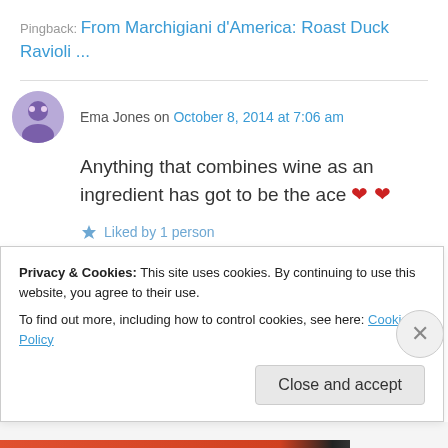Pingback: From Marchigiani d'America: Roast Duck Ravioli ...
Ema Jones on October 8, 2014 at 7:06 am
Anything that combines wine as an ingredient has got to be the ace ❤ ❤
Liked by 1 person
Privacy & Cookies: This site uses cookies. By continuing to use this website, you agree to their use.
To find out more, including how to control cookies, see here: Cookie Policy